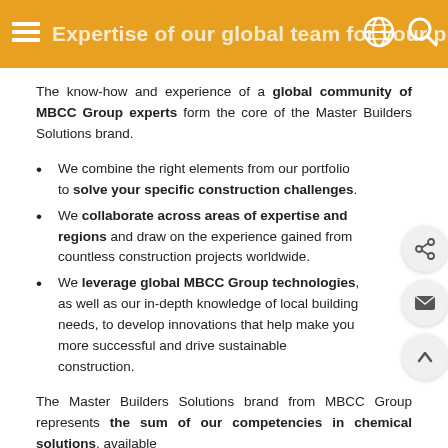Expertise of our global team for your project
The know-how and experience of a global community of MBCC Group experts form the core of the Master Builders Solutions brand.
We combine the right elements from our portfolio to solve your specific construction challenges.
We collaborate across areas of expertise and regions and draw on the experience gained from countless construction projects worldwide.
We leverage global MBCC Group technologies, as well as our in-depth knowledge of local building needs, to develop innovations that help make you more successful and drive sustainable construction.
The Master Builders Solutions brand from MBCC Group represents the sum of our competencies in chemical solutions, available